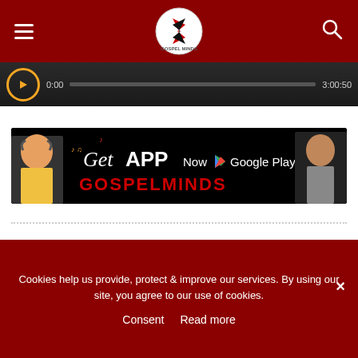GSM Gospel Minds header with hamburger menu, logo, and search icon
[Figure (screenshot): Audio player bar showing 0:00 and 3:00:50 timestamps with orange play button on dark background]
[Figure (infographic): Get APP Now GOSPELMINDS Google Play promotional banner on black background with two people wearing headphones]
Tags: Pastor Chris Oyakilome  Rhapsody Of Realities  Sermon
LEAVE A REPLY
Cookies help us provide, protect & improve our services. By using our site, you agree to our use of cookies.
Consent  Read more